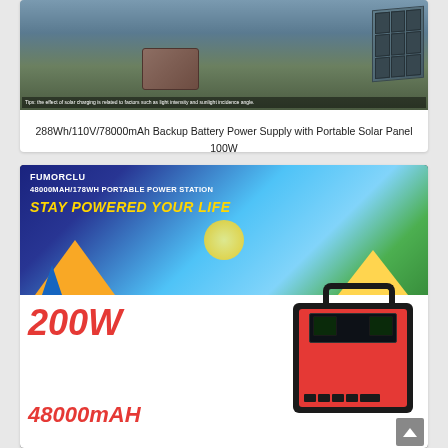[Figure (photo): Outdoor scene with a portable power station and a 100W solar panel leaning against it, set on grass near water. Text overlay: 'Tips: the effect of solar charging is related to factors such as light intensity and sunlight incidence angle.']
288Wh/110V/78000mAh Backup Battery Power Supply with Portable Solar Panel 100W
[Figure (photo): FUMORCLU 48000MAH/178WH PORTABLE POWER STATION promotional image. Top half shows camping scene with tents and sunlight with slogan 'STAY POWERED YOUR LIFE'. Bottom half shows the black and red FUMORCLU power station device with '200W' and '48000mAH' text labels.]